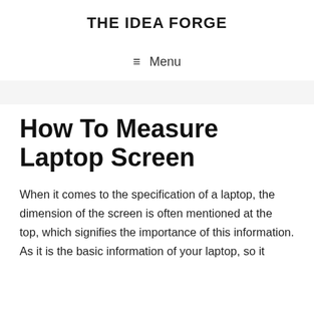THE IDEA FORGE
≡ Menu
How To Measure Laptop Screen
When it comes to the specification of a laptop, the dimension of the screen is often mentioned at the top, which signifies the importance of this information. As it is the basic information of your laptop, so it